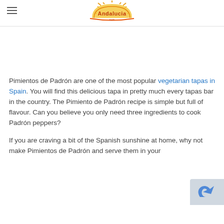Andalucia.com logo with hamburger menu
Pimientos de Padrón are one of the most popular vegetarian tapas in Spain. You will find this delicious tapa in pretty much every tapas bar in the country. The Pimiento de Padrón recipe is simple but full of flavour. Can you believe you only need three ingredients to cook Padrón peppers?
If you are craving a bit of the Spanish sunshine at home, why not make Pimientos de Padrón and serve them in your own home together with a large Spanish beer?